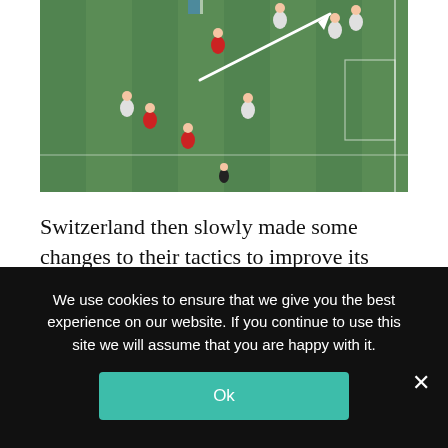[Figure (photo): A football match in progress on a green pitch. Players in red and white jerseys visible. A white arrow/line is drawn diagonally on the image indicating a tactical passing or running direction.]
Switzerland then slowly made some changes to their tactics to improve its progression of the ball. The first thing was to use one of their forwards to ensure verticality and pin both the Wales centre-backs. This means that the other forward has the license to drop deep and form overloads in the midfield. With the midfield
We use cookies to ensure that we give you the best experience on our website. If you continue to use this site we will assume that you are happy with it.